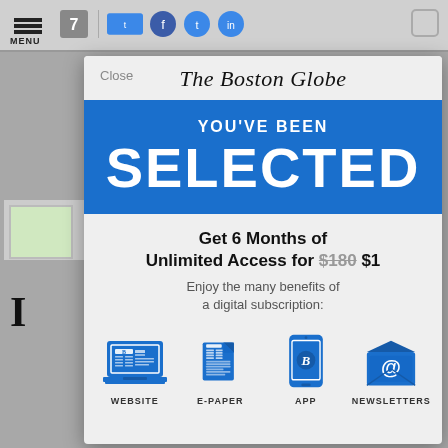The Boston Globe
YOU'VE BEEN SELECTED
Get 6 Months of Unlimited Access for $180 $1
Enjoy the many benefits of a digital subscription:
[Figure (infographic): Four blue icons: WEBSITE (laptop with newspaper), E-PAPER (newspaper/magazine), APP (smartphone with B logo), NEWSLETTERS (envelope with @ symbol)]